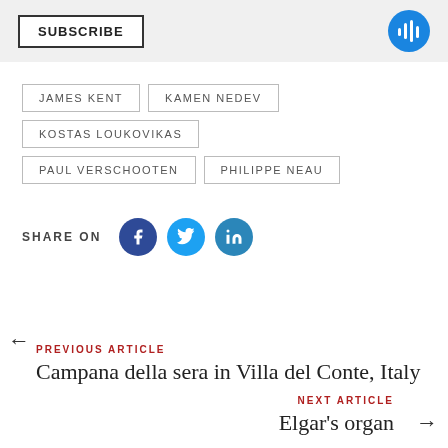SUBSCRIBE
JAMES KENT
KAMEN NEDEV
KOSTAS LOUKOVIKAS
PAUL VERSCHOOTEN
PHILIPPE NEAU
SHARE ON
PREVIOUS ARTICLE
Campana della sera in Villa del Conte, Italy
NEXT ARTICLE
Elgar's organ